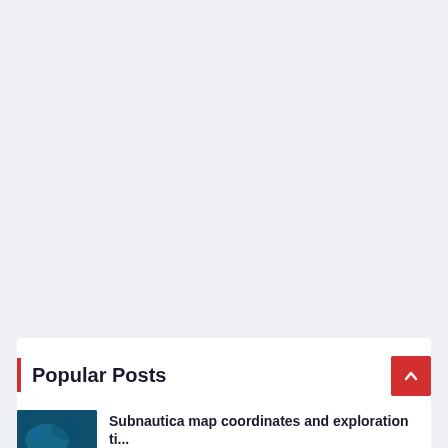Popular Posts
Subnautica map coordinates and exploration ti...